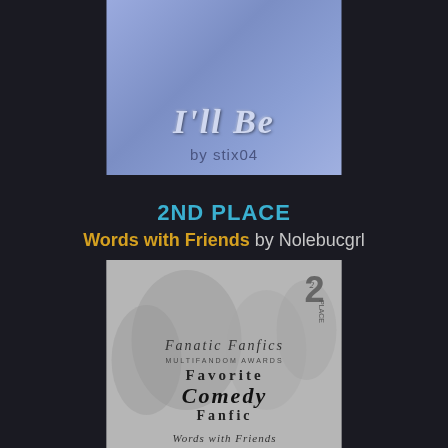[Figure (illustration): Book cover with lavender/periwinkle background showing title 'I'll Be' and author 'by stix04' in stylized text]
2ND PLACE
Words with Friends by Nolebucgrl
[Figure (illustration): Award badge/book cover in grayscale showing 'Fanatic Fanfics Multifandom Awards - Favorite Comedy Fanfic - Words with Friends' with '2nd Place' badge, with blurred group of people in background]